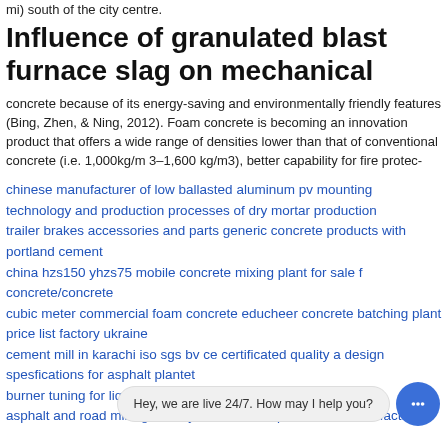mi) south of the city centre.
Influence of granulated blast furnace slag on mechanical
concrete because of its energy-saving and environmentally friendly features (Bing, Zhen, & Ning, 2012). Foam concrete is becoming an innovation product that offers a wide range of densities lower than that of conventional concrete (i.e. 1,000kg/m 3–1,600 kg/m3), better capability for fire protec-
chinese manufacturer of low ballasted aluminum pv mounting
technology and production processes of dry mortar production
trailer brakes accessories and parts generic concrete products with portland cement
china hzs150 yhzs75 mobile concrete mixing plant for sale f concrete/concrete
cubic meter commercial foam concrete educheer concrete batching plant price list factory ukraine
cement mill in karachi iso sgs bv ce certificated quality a design spesfications for asphalt plantet
burner tuning for liquid
asphalt and road milling stanley tan concrete plant china manufacturer